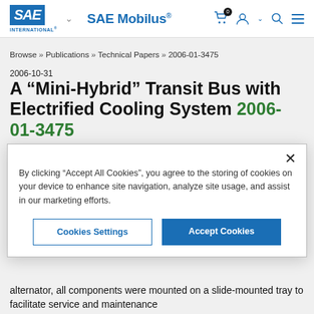[Figure (logo): SAE International logo with blue stylized letters and 'SAE Mobilus' navigation header with cart, user, search and menu icons]
Browse » Publications » Technical Papers » 2006-01-3475
2006-10-31
A “Mini-Hybrid” Transit Bus with Electrified Cooling System 2006-01-3475
By clicking “Accept All Cookies”, you agree to the storing of cookies on your device to enhance site navigation, analyze site usage, and assist in our marketing efforts.
alternator, all components were mounted on a slide-mounted tray to facilitate service and maintenance